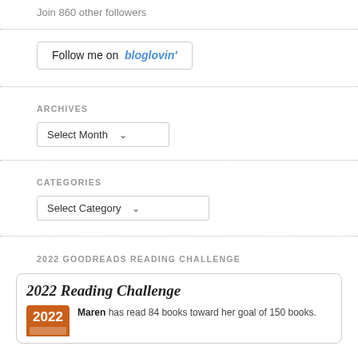Join 860 other followers
[Figure (other): Follow me on bloglovin' button]
ARCHIVES
[Figure (other): Select Month dropdown]
CATEGORIES
[Figure (other): Select Category dropdown]
2022 GOODREADS READING CHALLENGE
[Figure (other): 2022 Reading Challenge card: Maren has read 84 books toward her goal of 150 books.]